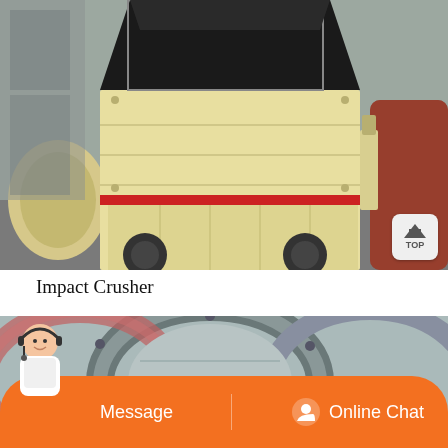[Figure (photo): Photo of a large impact crusher machine, painted beige/cream with a red accent stripe, on a concrete factory floor. Other heavy machinery visible in the background.]
Impact Crusher
[Figure (photo): Partial photo showing circular drum or mill machinery with grey and red metallic rings, viewed from close range.]
[Figure (photo): Customer service representative avatar — woman with headset, used for chat interface.]